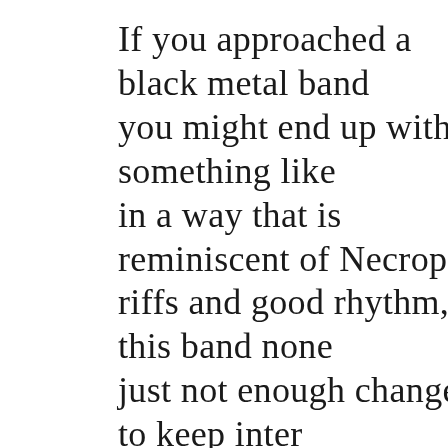If you approached a black metal band you might end up with something like in a way that is reminiscent of Necrop riffs and good rhythm, this band none just not enough changes to keep inter mostly inspired by the first two Gorgo of songs to narrate and develop them rather lukewarm and repetition-intens designed for doom metal, but as blac confused purpose within otherwise we music for repetitive tasks. You know, taxes or chase hipsters off your front